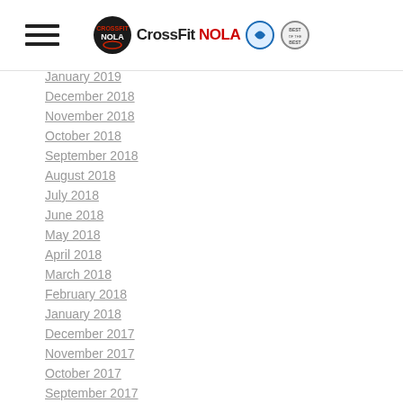CrossFit NOLA
January 2019
December 2018
November 2018
October 2018
September 2018
August 2018
July 2018
June 2018
May 2018
April 2018
March 2018
February 2018
January 2018
December 2017
November 2017
October 2017
September 2017
August 2017
July 2017